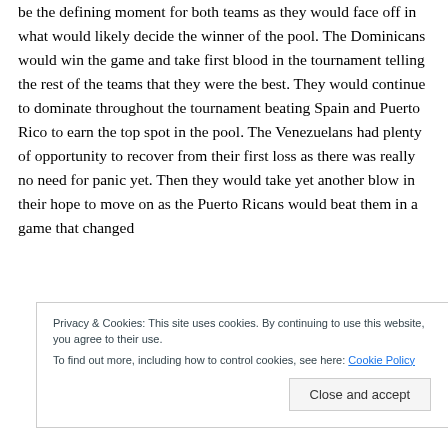be the defining moment for both teams as they would face off in what would likely decide the winner of the pool. The Dominicans would win the game and take first blood in the tournament telling the rest of the teams that they were the best. They would continue to dominate throughout the tournament beating Spain and Puerto Rico to earn the top spot in the pool. The Venezuelans had plenty of opportunity to recover from their first loss as there was really no need for panic yet. Then they would take yet another blow in their hope to move on as the Puerto Ricans would beat them in a game that changed
Privacy & Cookies: This site uses cookies. By continuing to use this website, you agree to their use.
To find out more, including how to control cookies, see here: Cookie Policy
Close and accept